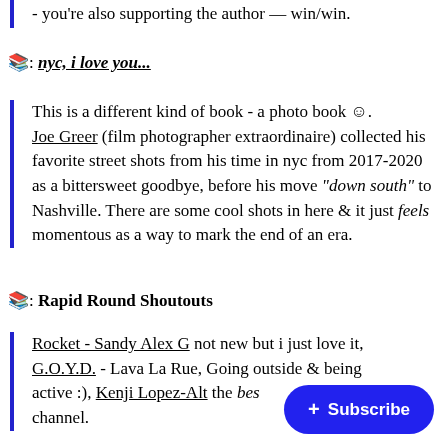- you're also supporting the author — win/win.
📚: nyc, i love you...
This is a different kind of book - a photo book 😊. Joe Greer (film photographer extraordinaire) collected his favorite street shots from his time in nyc from 2017-2020 as a bittersweet goodbye, before his move "down south" to Nashville. There are some cool shots in here & it just feels momentous as a way to mark the end of an era.
📚: Rapid Round Shoutouts
Rocket - Sandy Alex G not new but i just love it, G.O.Y.D. - Lava La Rue, Going out of her way to stay active :), Kenji Lopez-Alt the best YouTube cooking channel.